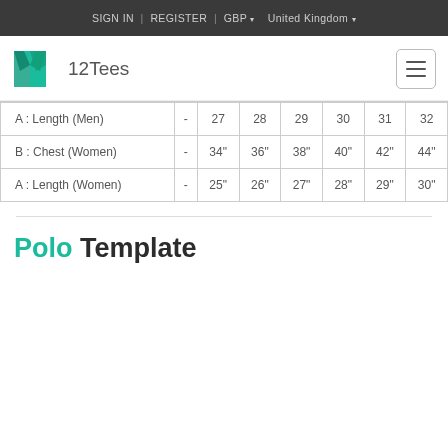SIGN IN | REGISTER | GBP ▾ United Kingdom ▾
[Figure (logo): 12Tees logo with teal origami shirt icon and text '12Tees', plus hamburger menu button]
| A : Length (Men) | - | 27 | 28 | 29 | 30 | 31 | 32 |
| B : Chest (Women) | - | 34" | 36" | 38" | 40" | 42" | 44" |
| A : Length (Women) | - | 25" | 26" | 27" | 28" | 29" | 30" |
Polo Template